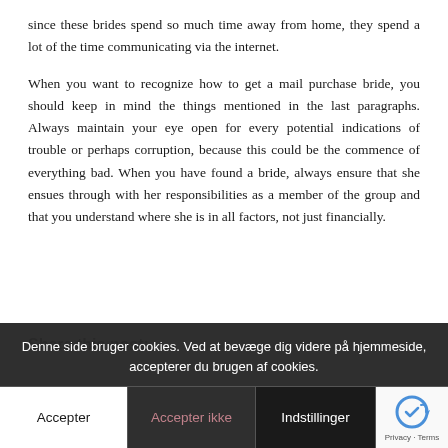since these brides spend so much time away from home, they spend a lot of the time communicating via the internet.
When you want to recognize how to get a mail purchase bride, you should keep in mind the things mentioned in the last paragraphs. Always maintain your eye open for every potential indications of trouble or perhaps corruption, because this could be the commence of everything bad. When you have found a bride, always ensure that she ensues through with her responsibilities as a member of the group and that you understand where she is in all factors, not just financially.
Share this post:
Denne side bruger cookies. Ved at bevæge dig videre på hjemmeside, accepterer du brugen af cookies.
Accepter | Accepter ikke | Indstillinger